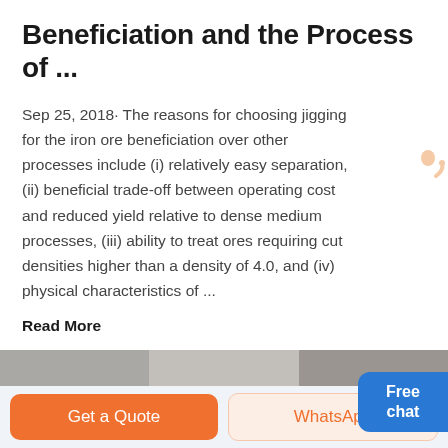Beneficiation and the Process of ...
Sep 25, 2018· The reasons for choosing jigging for the iron ore beneficiation over other processes include (i) relatively easy separation, (ii) beneficial trade-off between operating cost and reduced yield relative to dense medium processes, (iii) ability to treat ores requiring cut densities higher than a density of 4.0, and (iv) physical characteristics of ...
Read More
[Figure (photo): Thumbnail strip of images partially visible at bottom of content area]
[Figure (illustration): Free chat button with avatar illustration on the right side]
Get a Quote
WhatsApp